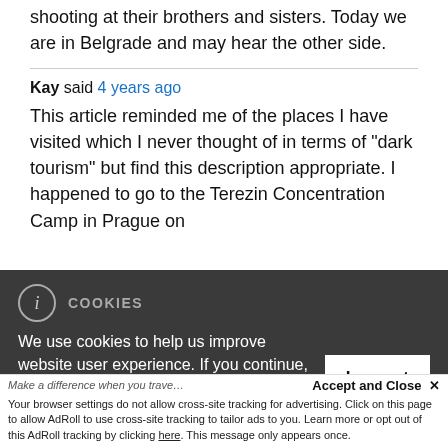shooting at their brothers and sisters. Today we are in Belgrade and may hear the other side.
Kay said 4 years ago
This article reminded me of the places I have visited which I never thought of in terms of "dark tourism" but find this description appropriate. I happened to go to the Terezin Concentration Camp in Prague on
[Figure (screenshot): Cookie consent banner overlay on dark background with 'i' icon, COOKIES heading, text about using cookies to improve website user experience, and 'I accept' button]
Accept and Close ✕
Your browser settings do not allow cross-site tracking for advertising. Click on this page to allow AdRoll to use cross-site tracking to tailor ads to you. Learn more or opt out of this AdRoll tracking by clicking here. This message only appears once.